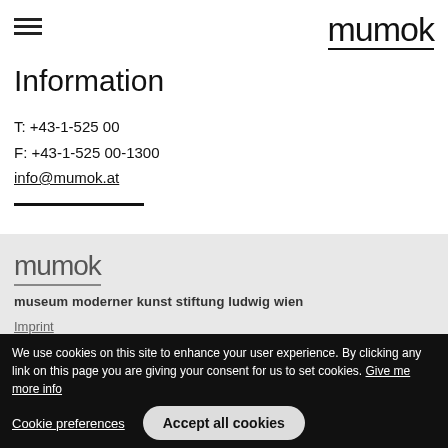mumok
Information
T: +43-1-525 00
F: +43-1-525 00-1300
info@mumok.at
[Figure (logo): mumok logo in footer with underline]
museum moderner kunst stiftung ludwig wien
Imprint
We use cookies on this site to enhance your user experience. By clicking any link on this page you are giving your consent for us to set cookies. Give me more info
Cookie preferences
Accept all cookies